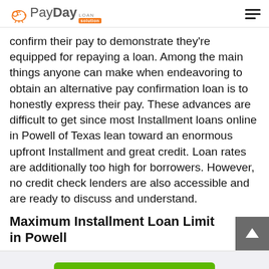PayDay Loan Solution
confirm their pay to demonstrate they're equipped for repaying a loan. Among the main things anyone can make when endeavoring to obtain an alternative pay confirmation loan is to honestly express their pay. These advances are difficult to get since most Installment loans online in Powell of Texas lean toward an enormous upfront Installment and great credit. Loan rates are additionally too high for borrowers. However, no credit check lenders are also accessible and are ready to discuss and understand.
Maximum Installment Loan Limit in Powell
[Figure (other): Back to top arrow button]
Apply Now
Applying does NOT affect your credit score!
No credit check to apply.